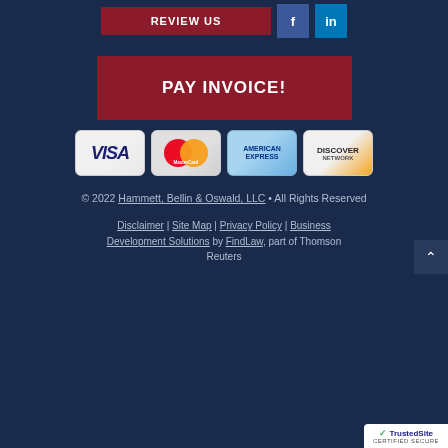[Figure (infographic): Top navigation bar with REVIEW US button (dark red), Facebook icon (blue), LinkedIn icon (blue)]
PAY INVOICE!
[Figure (infographic): Payment method icons: Visa, MasterCard, American Express, Discover Network]
© 2022 Hammett, Bellin & Oswald, LLC • All Rights Reserved
Disclaimer | Site Map | Privacy Policy | Business Development Solutions by FindLaw, part of Thomson Reuters
[Figure (logo): TrustedSite Certified Secure badge]